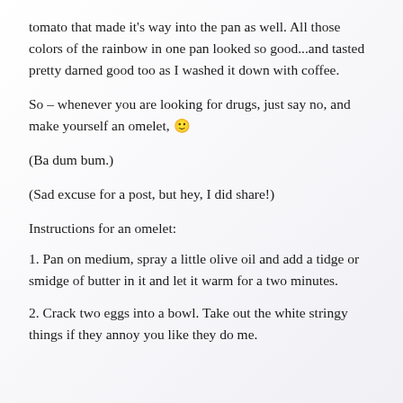tomato that made it's way into the pan as well. All those colors of the rainbow in one pan looked so good...and tasted pretty darned good too as I washed it down with coffee.
So – whenever you are looking for drugs, just say no, and make yourself an omelet, 🙂
(Ba dum bum.)
(Sad excuse for a post, but hey, I did share!)
Instructions for an omelet:
1. Pan on medium, spray a little olive oil and add a tidge or smidge of butter in it and let it warm for a two minutes.
2. Crack two eggs into a bowl. Take out the white stringy things if they annoy you like they do me.